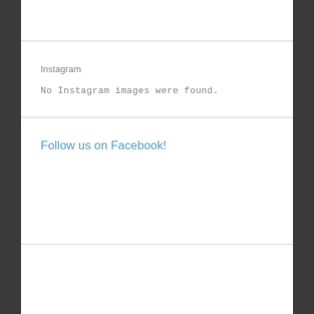Instagram
No Instagram images were found.
Follow us on Facebook!